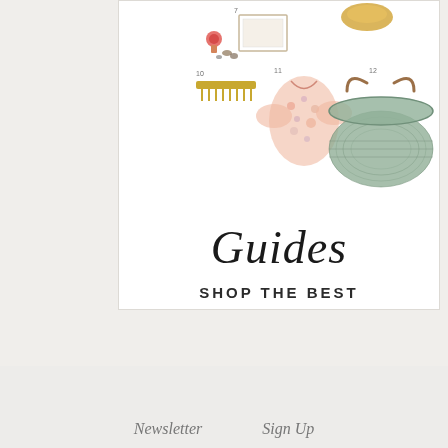[Figure (illustration): A shopping guide collage card showing numbered product items (7, 10, 11, 12) including decorative items, a floral jacket, and a woven basket bag, arranged on a white background with a light gray border. Below the products is italic text 'Guides' and uppercase text 'SHOP THE BEST'.]
Newsletter   Sign Up